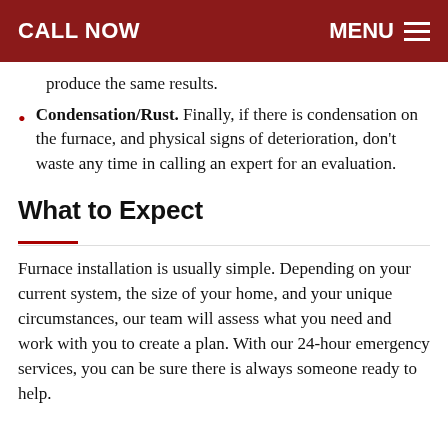CALL NOW   MENU
produce the same results.
Condensation/Rust. Finally, if there is condensation on the furnace, and physical signs of deterioration, don't waste any time in calling an expert for an evaluation.
What to Expect
Furnace installation is usually simple. Depending on your current system, the size of your home, and your unique circumstances, our team will assess what you need and work with you to create a plan. With our 24-hour emergency services, you can be sure there is always someone ready to help.